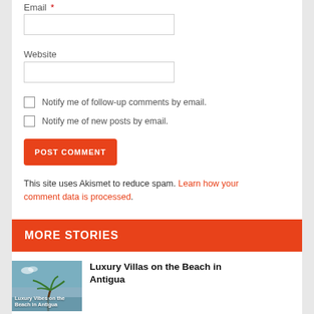Email *
Website
Notify me of follow-up comments by email.
Notify me of new posts by email.
POST COMMENT
This site uses Akismet to reduce spam. Learn how your comment data is processed.
MORE STORIES
[Figure (photo): Thumbnail image showing a beach scene with palm trees and the text 'Luxury Vibes on the Beach in Antigua']
Luxury Villas on the Beach in Antigua